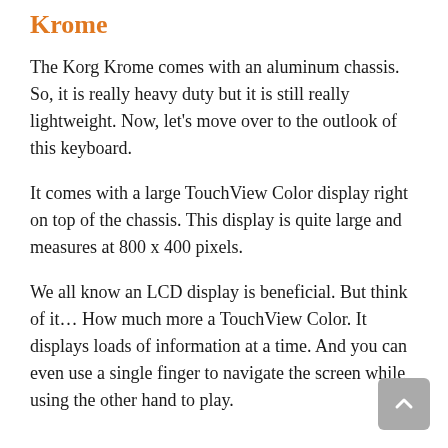Krome
The Korg Krome comes with an aluminum chassis. So, it is really heavy duty but it is still really lightweight. Now, let’s move over to the outlook of this keyboard.
It comes with a large TouchView Color display right on top of the chassis. This display is quite large and measures at 800 x 400 pixels.
We all know an LCD display is beneficial. But think of it… How much more a TouchView Color. It displays loads of information at a time. And you can even use a single finger to navigate the screen while using the other hand to play.